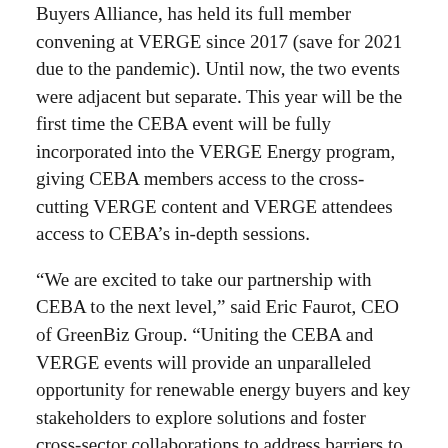Buyers Alliance, has held its full member convening at VERGE since 2017 (save for 2021 due to the pandemic). Until now, the two events were adjacent but separate. This year will be the first time the CEBA event will be fully incorporated into the VERGE Energy program, giving CEBA members access to the cross-cutting VERGE content and VERGE attendees access to CEBA's in-depth sessions.
“We are excited to take our partnership with CEBA to the next level,” said Eric Faurot, CEO of GreenBiz Group. “Uniting the CEBA and VERGE events will provide an unparalleled opportunity for renewable energy buyers and key stakeholders to explore solutions and foster cross-sector collaborations to address barriers to progress. This is what’s needed to create clean, resilient energy systems amid the growing disruptions in a warming world.”
CEBA — a business association that activates a community of energy customers and partners to deploy market and policy solutions for a carbon-free energy system — brings